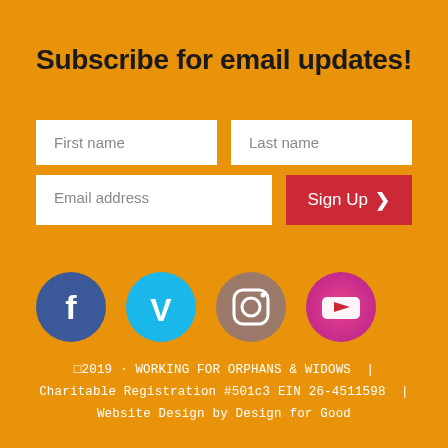Subscribe for email updates!
[Figure (infographic): Email subscription form with First name, Last name, Email address fields and a Sign Up button]
[Figure (infographic): Social media icons: Facebook, Vimeo, Instagram, YouTube]
©2019 · WORKING FOR ORPHANS & WIDOWS  |  Charitable Registration #501c3 EIN 26-4511598  |  Website Design by Design for Good